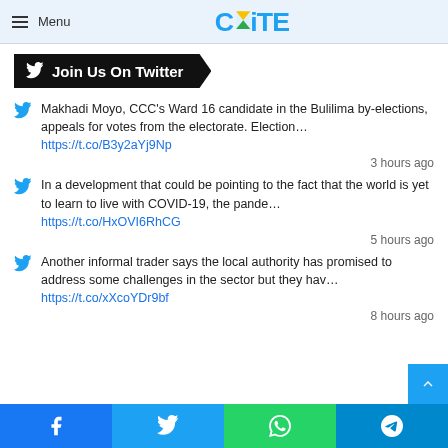Menu | CiTE
Join Us On Twitter
Makhadi Moyo, CCC's Ward 16 candidate in the Bulilima by-elections, appeals for votes from the electorate. Election… https://t.co/B3y2aYj9Np
3 hours ago
In a development that could be pointing to the fact that the world is yet to learn to live with COVID-19, the pande… https://t.co/HxOVI6RhCG
5 hours ago
Another informal trader says the local authority has promised to address some challenges in the sector but they hav… https://t.co/xXcoYDr9bf
8 hours ago
Facebook | Twitter | WhatsApp | Telegram